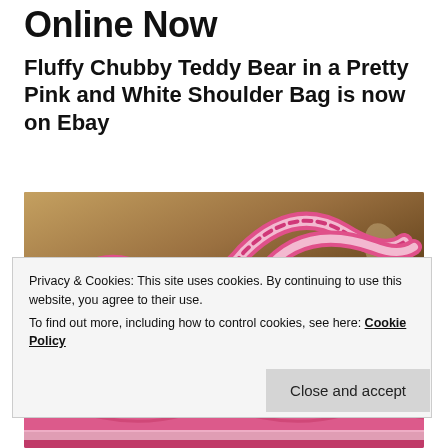Online Now
Fluffy Chubby Teddy Bear in a Pretty Pink and White Shoulder Bag is now on Ebay
[Figure (photo): Close-up photo of a pink and white crocheted shoulder bag strap against a brown floral background]
Privacy & Cookies: This site uses cookies. By continuing to use this website, you agree to their use.
To find out more, including how to control cookies, see here: Cookie Policy
[Figure (photo): Partial view of a pink and white crocheted teddy bear bag at the bottom of the page]